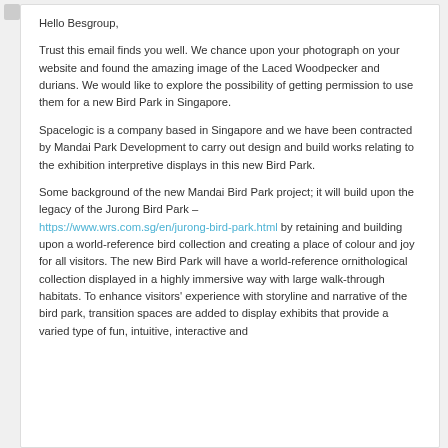Hello Besgroup,
Trust this email finds you well. We chance upon your photograph on your website and found the amazing image of the Laced Woodpecker and durians. We would like to explore the possibility of getting permission to use them for a new Bird Park in Singapore.
Spacelogic is a company based in Singapore and we have been contracted by Mandai Park Development to carry out design and build works relating to the exhibition interpretive displays in this new Bird Park.
Some background of the new Mandai Bird Park project; it will build upon the legacy of the Jurong Bird Park – https://www.wrs.com.sg/en/jurong-bird-park.html by retaining and building upon a world-reference bird collection and creating a place of colour and joy for all visitors. The new Bird Park will have a world-reference ornithological collection displayed in a highly immersive way with large walk-through habitats. To enhance visitors' experience with storyline and narrative of the bird park, transition spaces are added to display exhibits that provide a varied type of fun, intuitive, interactive and